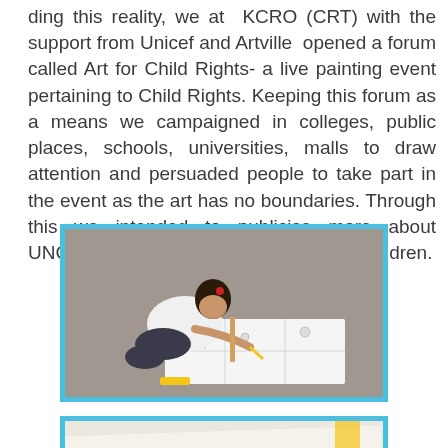ding this reality, we at KCRO (CRT) with the support from Unicef and Artville opened a forum called Art for Child Rights- a live painting event pertaining to Child Rights. Keeping this forum as a means we campaigned in colleges, public places, schools, universities, malls to draw attention and persuaded people to take part in the event as the art has no boundaries. Through this we intended to publicise more about UNCRC to general public as well as to Children.
[Figure (photo): Child sitting on the floor drawing/painting on a large white sheet of paper with illustrations on it, viewed from above]
[Figure (photo): Close-up of a painting/poster with handwritten text reading 'EVERY CHILD HAS THE' and a red shape visible at the bottom]